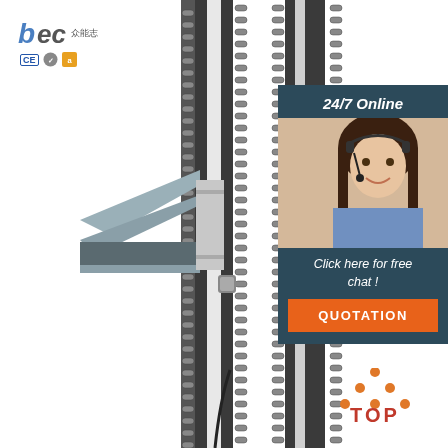[Figure (photo): Close-up photo of an industrial chain drive / elevator mechanism showing dark metal vertical rail with roller chain, bracket assembly, and chain drive components on white background]
[Figure (logo): BEC company logo with Chinese characters and CE, ISO, Alibaba certification badges]
[Figure (infographic): Customer service panel with dark teal background showing '24/7 Online', photo of female customer service agent with headset, 'Click here for free chat!' text, and orange QUOTATION button]
[Figure (infographic): TOP badge with orange dot triangle icon and red TOP text at bottom right]